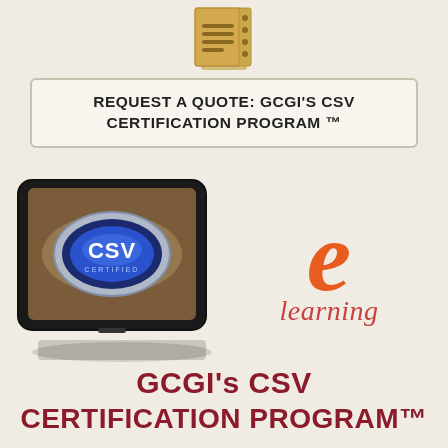[Figure (illustration): Document/notepad icon with lined pages and a pen, golden-brown colored]
REQUEST A QUOTE: GCGI'S CSV CERTIFICATION PROGRAM ™
[Figure (illustration): Left: tablet device showing CSV CERTIFIED blue badge logo on brownish background. Right: orange italic 'e' letter above italic red 'learning' text forming an e-learning logo.]
GCGI's CSV CERTIFICATION PROGRAM™